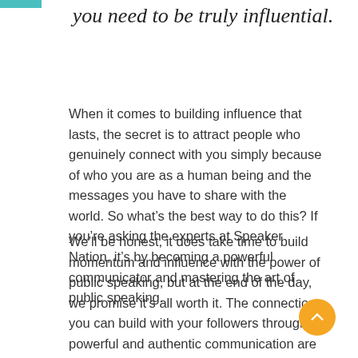you need to be truly influential.
When it comes to building influence that lasts, the secret is to attract people who genuinely connect with you simply because of who you are as a human being and the messages you have to share with the world. So what’s the best way to do this? If you’re asking the experts at Speaker Nation, it’s by becoming a powerful communicator and mastering the art of public speaking.
We’ll be honest, it does take time to build momentum and influence with the power of public speaking, but at the end of the day, we promise it’s all worth it. The connections you can build with your followers through powerful and authentic communication are far more impactful than you